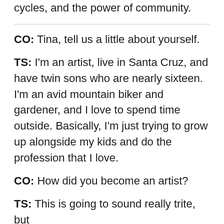cycles, and the power of community.
CO: Tina, tell us a little about yourself.
TS: I'm an artist, live in Santa Cruz, and have twin sons who are nearly sixteen. I'm an avid mountain biker and gardener, and I love to spend time outside. Basically, I'm just trying to grow up alongside my kids and do the profession that I love.
CO: How did you become an artist?
TS: This is going to sound really trite, but